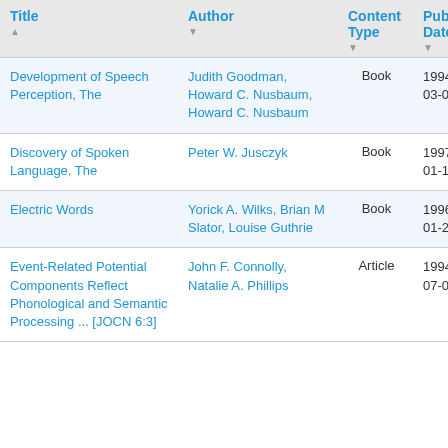| Title | Author | Content Type | Pub Date |
| --- | --- | --- | --- |
| Development of Speech Perception, The | Judith Goodman, Howard C. Nusbaum, Howard C. Nusbaum | Book | 1994-03-08 |
| Discovery of Spoken Language, The | Peter W. Jusczyk | Book | 1997-01-10 |
| Electric Words | Yorick A. Wilks, Brian M Slator, Louise Guthrie | Book | 1996-01-23 |
| Event-Related Potential Components Reflect Phonological and Semantic Processing ... [JOCN 6:3] | John F. Connolly, Natalie A. Phillips | Article | 1994-07-01 |